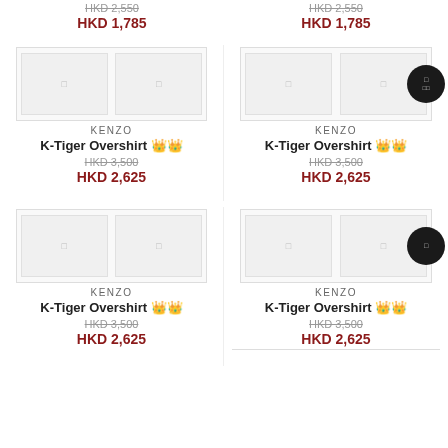HKD 2,550 (strikethrough) / HKD 1,785 (sale) - top left product
HKD 2,550 (strikethrough) / HKD 1,785 (sale) - top right product
[Figure (photo): Product image placeholder for KENZO K-Tiger Overshirt, middle-left]
KENZO
K-Tiger Overshirt
HKD 3,500 / HKD 2,625
[Figure (photo): Product image placeholder for KENZO K-Tiger Overshirt, middle-right]
KENZO
K-Tiger Overshirt
HKD 3,500 / HKD 2,625
[Figure (photo): Product image placeholder for KENZO K-Tiger Overshirt, bottom-left]
KENZO
K-Tiger Overshirt
HKD 3,500 / HKD 2,625
[Figure (photo): Product image placeholder for KENZO K-Tiger Overshirt, bottom-right]
KENZO
K-Tiger Overshirt
HKD 3,500 / HKD 2,625